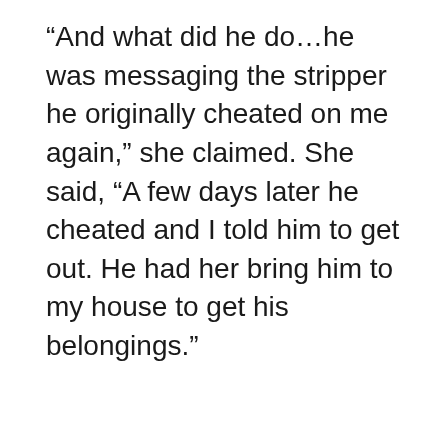“And what did he do…he was messaging the stripper he originally cheated on me again,” she claimed. She said, “A few days later he cheated and I told him to get out. He had her bring him to my house to get his belongings.”